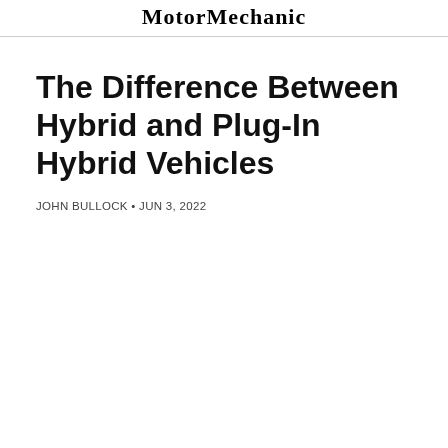MotorMechanic
The Difference Between Hybrid and Plug-In Hybrid Vehicles
JOHN BULLOCK • JUN 3, 2022